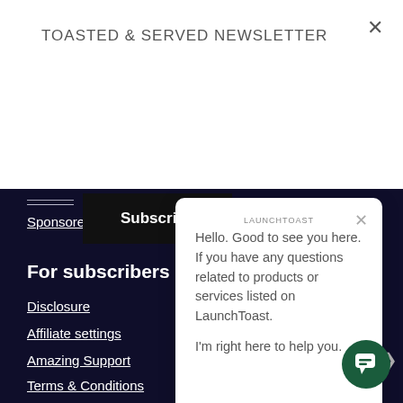TOASTED & SERVED NEWSLETTER
Subscribe
Sponsored Post
For subscribers
Disclosure
Affiliate settings
Amazing Support
Terms & Conditions
Contacts
Hello. Good to see you here. If you have any questions related to products or services listed on LaunchToast.

I'm right here to help you.
[Figure (other): Chat support icon button (green circle with chat bubble icon)]